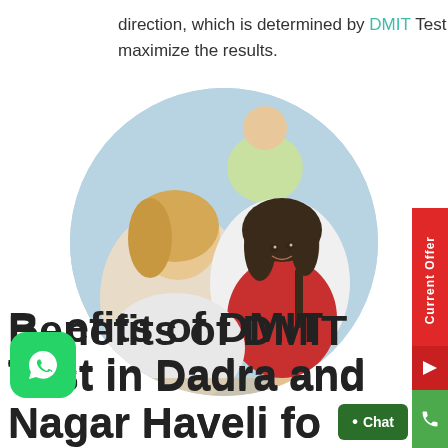direction, which is determined by DMIT Test to maximize the results.
[Figure (photo): Two young girls studying together, circular cropped image]
Benefits of DMIT Test in Dadra and Nagar Haveli for